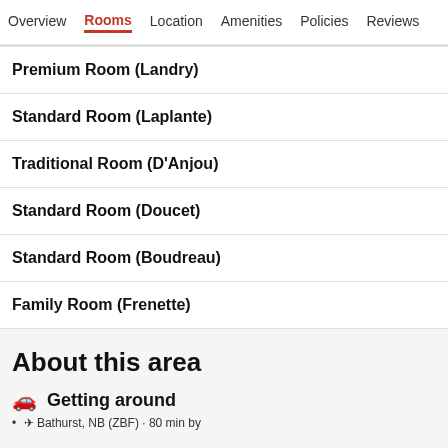Overview  Rooms  Location  Amenities  Policies  Reviews
Premium Room (Landry)
Standard Room (Laplante)
Traditional Room (D'Anjou)
Standard Room (Doucet)
Standard Room (Boudreau)
Family Room (Frenette)
About this area
Getting around
Bathurst, NB (ZBF) - 80 min by...